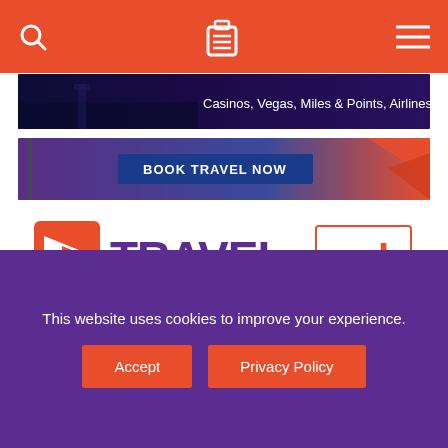Navigation bar with search, luggage, and menu icons
[Figure (screenshot): Advertisement banner: Casinos, Vegas, Miles & Points, Airlines and Hotels on dark purple background with city skyline]
[Figure (screenshot): Advertisement banner: BOOK TRAVEL NOW on blue button with tropical and colorful background]
[Figure (logo): TRAVELzork logo - TRAVEL in purple bold letters, zork in orange, with stylized plane icon in red/white square]
Go to ...
Search
This website uses cookies to improve your experience.
Accept
Privacy Policy